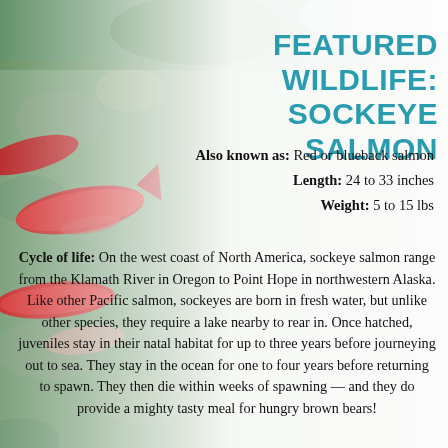[Figure (photo): Sockeye salmon swimming in shallow rocky stream water, fish visible in red spawning colors]
FEATURED WILDLIFE: SOCKEYE SALMON
Also known as: Red or blueback salmon
Length: 24 to 33 inches
Weight: 5 to 15 lbs
Cycle of life: On the west coast of North America, sockeye salmon range from the Klamath River in Oregon to Point Hope in northwestern Alaska. Like other Pacific salmon, sockeyes are born in fresh water, but unlike other species, they require a lake nearby to rear in. Once hatched, juveniles stay in their natal habitat for up to three years before journeying out to sea. They stay in the ocean for one to four years before returning to spawn. They then die within weeks of spawning — and they do provide a mighty tasty meal for hungry brown bears!